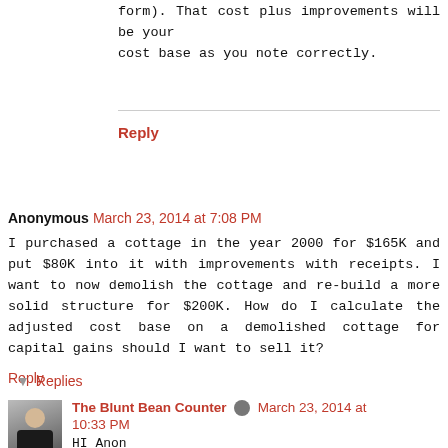form). That cost plus improvements will be your cost base as you note correctly.
Reply
Anonymous  March 23, 2014 at 7:08 PM
I purchased a cottage in the year 2000 for $165K and put $80K into it with improvements with receipts. I want to now demolish the cottage and re-build a more solid structure for $200K. How do I calculate the adjusted cost base on a demolished cottage for capital gains should I want to sell it?
Reply
Replies
The Blunt Bean Counter  March 23, 2014 at 10:33 PM
HI Anon
I have never had this issue before and thus I do